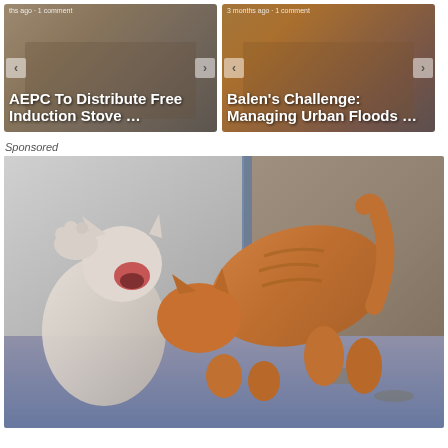[Figure (photo): News article card: AEPC To Distribute Free Induction Stove ... with navigation arrows, timestamp 'months ago · 1 comment']
[Figure (photo): News article card: Balen's Challenge: Managing Urban Floods ... with navigation arrows, timestamp '3 months ago · 1 comment']
Sponsored
[Figure (photo): Sponsored image showing two cats fighting — a white cat on the left hissing with paw raised, and an orange/ginger cat on the right biting/attacking it, outdoors on pavement near a wall]